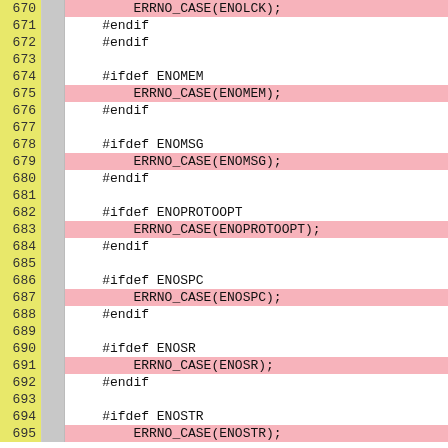[Figure (screenshot): Source code viewer showing C preprocessor code lines 670-695 with line numbers in yellow column, grey gutter, and alternating pink-highlighted ERRNO_CASE macro lines and white #ifdef/#endif lines on white/pink background.]